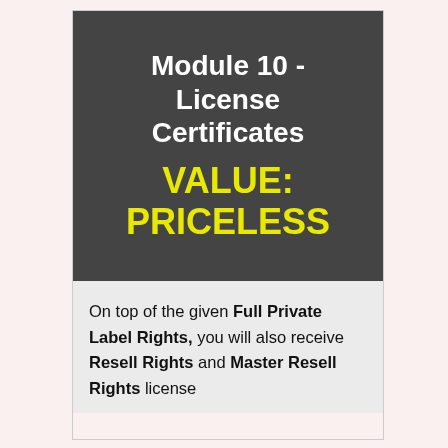Module 10 - License Certificates VALUE: PRICELESS
On top of the given Full Private Label Rights, you will also receive Resell Rights and Master Resell Rights license